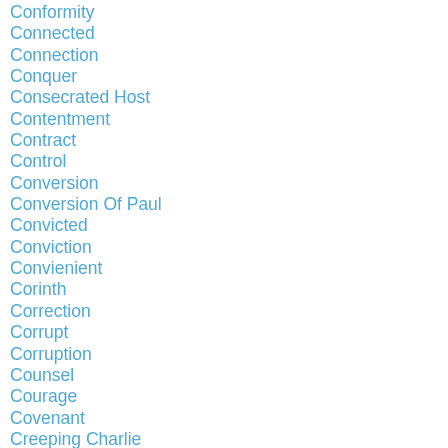Conformity
Connected
Connection
Conquer
Consecrated Host
Contentment
Contract
Control
Conversion
Conversion Of Paul
Convicted
Conviction
Convienient
Corinth
Correction
Corrupt
Corruption
Counsel
Courage
Covenant
Creeping Charlie